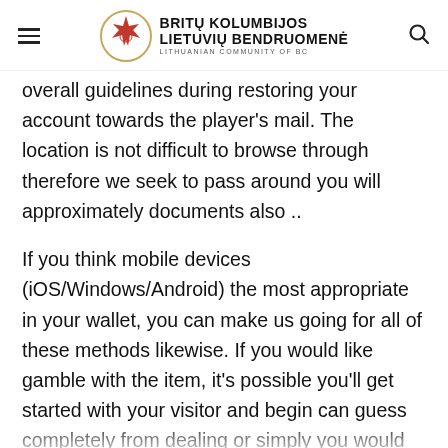BRITŲ KOLUMBIJOS LIETUVIŲ BENDRUOMENĖ LITHUANIAN COMMUNITY OF BC
overall guidelines during restoring your account towards the player's mail. The location is not difficult to browse through therefore we seek to pass around you will approximately documents also ..
If you think mobile devices (iOS/Windows/Android) the most appropriate in your wallet, you can make us going for all of these methods likewise. If you would like gamble with the item, it's possible you'll get started with your visitor and begin can guess completely from dealing or simply you would possibly get a hold of Casinoland application during Application form Stash/Engage in Enterprise. Cell phone edition differs from laptop an individual, sega's